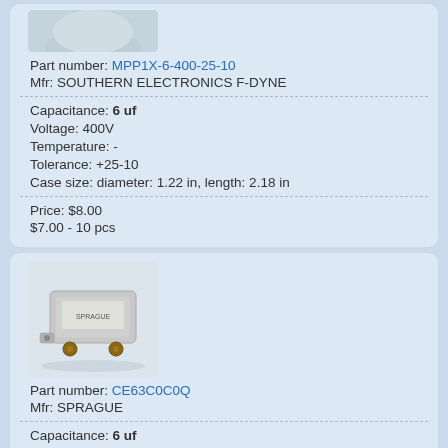[Figure (photo): Top portion of a capacitor product image, partially cropped]
Part number: MPP1X-6-400-25-10
Mfr: SOUTHERN ELECTRONICS F-DYNE
Capacitance: 6 uf
Voltage: 400V
Temperature: -
Tolerance: +25-10
Case size: diameter: 1.22 in, length: 2.18 in
Price: $8.00
$7.00 - 10 pcs
[Figure (photo): Photo of a small rectangular metallic capacitor with two terminals, branded SPRAGUE]
Part number: CE63C0C0Q
Mfr: SPRAGUE
Capacitance: 6 uf
Voltage: 400V
Temperature: -